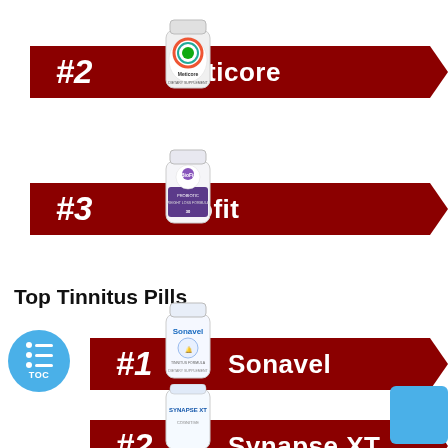[Figure (illustration): Dark supplement bottle visible at top, partially cropped]
[Figure (infographic): Dark red arrow banner with #2 rank and Meticore supplement bottle image and white text 'Meticore']
[Figure (infographic): Dark red arrow banner with #3 rank and Biofit supplement bottle image and white text 'Biofit']
Top Tinnitus Pills
[Figure (infographic): Dark red arrow banner with #1 rank and Sonavel supplement bottle image and white text 'Sonavel', with blue TOC button on left]
[Figure (infographic): Dark red arrow banner with #2 rank and Synapse XT supplement bottle image and white text 'Synapse XT', partially cropped at bottom]